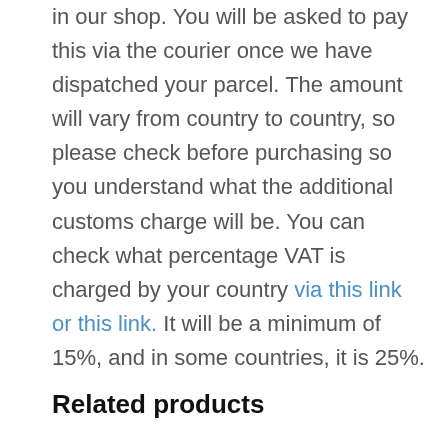in our shop. You will be asked to pay this via the courier once we have dispatched your parcel. The amount will vary from country to country, so please check before purchasing so you understand what the additional customs charge will be. You can check what percentage VAT is charged by your country via this link or this link. It will be a minimum of 15%, and in some countries, it is 25%.
Related products